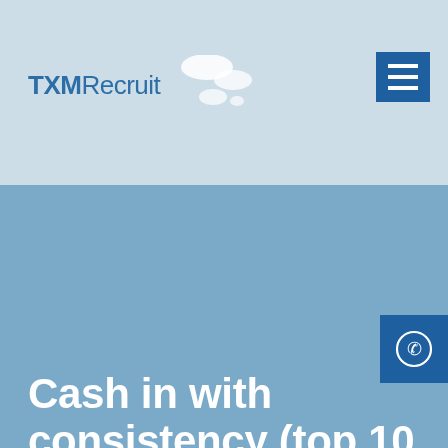TXMRecruit
Cash in with consistency (top 10 benefits)